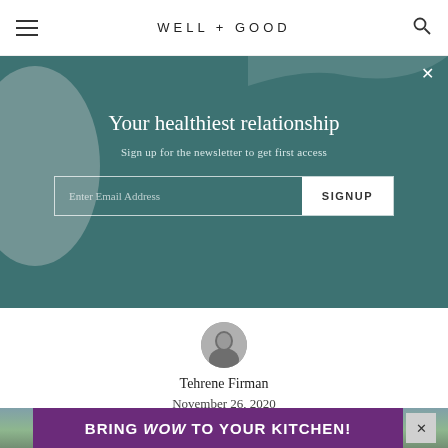WELL + GOOD
Your healthiest relationship
Sign up for the newsletter to get first access
Enter Email Address  SIGNUP
[Figure (photo): Author avatar photo of Tehrene Firman, circular cropped black and white portrait]
Tehrene Firman
November 26, 2020
[Figure (photo): Blurred outdoor landscape photo, green/teal tones]
BRING WOW TO YOUR KITCHEN!